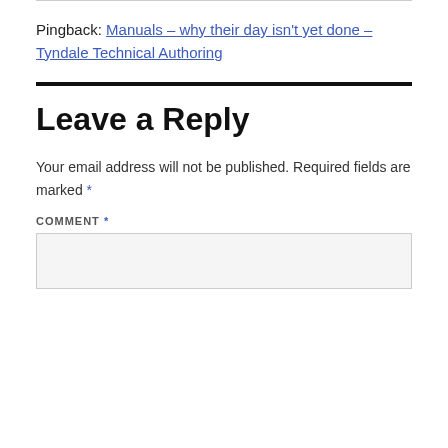Pingback: Manuals – why their day isn't yet done – Tyndale Technical Authoring
Leave a Reply
Your email address will not be published. Required fields are marked *
COMMENT *